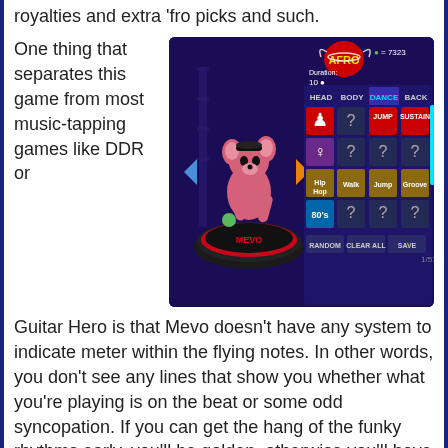royalties and extra 'fro picks and such.
One thing that separates this game from most music-tapping games like DDR or Guitar Hero is that Mevo doesn't have any system to indicate meter within the flying notes. In other words, you don't see any lines that show you whether what you're playing is on the beat or some odd syncopation. If you can get the hang of the funky rhythms early, you'll be golden, otherwise you'll have some troubles as early as the first tutorial level.
[Figure (screenshot): Screenshot of Mevo game character customization screen showing a pink cartoon character on a spinning platform, with customization options for HEAD, BODY, DANCE, BACK categories and options including JUMP, SUSTAIN, Hip Hop, Walk, Jump, Groove, 80's styles, plus RANDOM, CLEAR ALL, SAVE buttons. Shows 7323 in-game currency.]